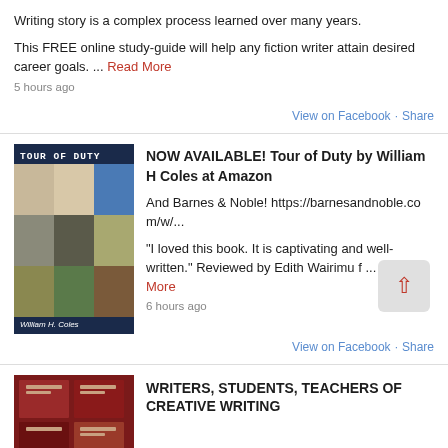Writing story is a complex process learned over many years.
This FREE online study-guide will help any fiction writer attain desired career goals. ... Read More
5 hours ago
View on Facebook · Share
[Figure (photo): Book cover of 'Tour of Duty' by William H. Coles — dark navy cover with collage of small images and white text]
NOW AVAILABLE! Tour of Duty by William H Coles at Amazon

And Barnes & Noble! https://barnesandnoble.com/w/...

"I loved this book. It is captivating and well-written." Reviewed by Edith Wairimu f ... Read More
6 hours ago
View on Facebook · Share
[Figure (photo): Small book cover thumbnail — dark red/maroon books]
WRITERS, STUDENTS, TEACHERS OF CREATIVE WRITING